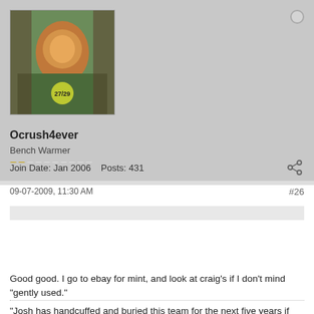[Figure (photo): User avatar image showing a person with decorative elements and a badge with '27/29']
Ocrush4ever
Bench Warmer
[rep bar: 2 orange pips, 8 empty pips]
Join Date: Jan 2006    Posts: 431
09-07-2009, 11:30 AM
#26
Originally posted by Alastor [forward icon]
Yeah... The item I sold... Was in mint condition. I don't sell crap. I donate crap or I throw it away. If I sell it, it's in great shape. Otherwise I don't bother with the hassle.
Good good. I go to ebay for mint, and look at craig's if I don't mind "gently used."
"Josh has handcuffed and buried this team for the next five years if not a decade. He has no game plan."-thinkin101
"Welcome to your first losing season McD... you'll probably get a few